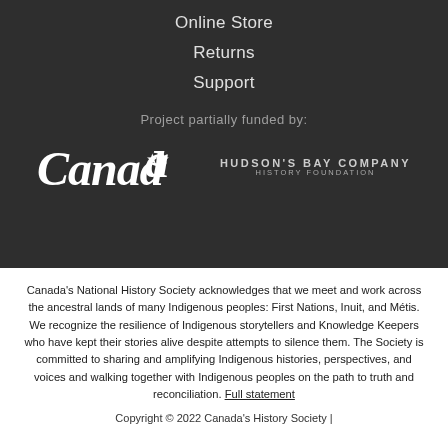Online Store
Returns
Support
Project partially funded by:
[Figure (logo): Canada wordmark logo and Hudson's Bay Company History Foundation logo side by side on dark background]
Canada's National History Society acknowledges that we meet and work across the ancestral lands of many Indigenous peoples: First Nations, Inuit, and Métis. We recognize the resilience of Indigenous storytellers and Knowledge Keepers who have kept their stories alive despite attempts to silence them. The Society is committed to sharing and amplifying Indigenous histories, perspectives, and voices and walking together with Indigenous peoples on the path to truth and reconciliation. Full statement
Copyright © 2022 Canada's History Society |